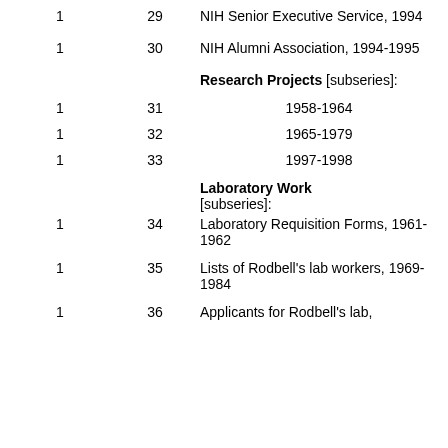1  29  NIH Senior Executive Service, 1994
1  30  NIH Alumni Association, 1994-1995
Research Projects [subseries]:
1  31  1958-1964
1  32  1965-1979
1  33  1997-1998
Laboratory Work [subseries]:
1  34  Laboratory Requisition Forms, 1961-1962
1  35  Lists of Rodbell's lab workers, 1969-1984
1  36  Applicants for Rodbell's lab,